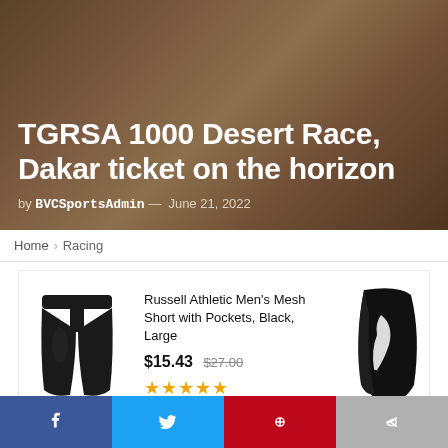TGRSA 1000 Desert Race, Dakar ticket on the horizon
by BVCSportsAdmin — June 21, 2022
Home > Racing
[Figure (other): Amazon ad showing black athletic shorts with product listing]
Ads by Amazon